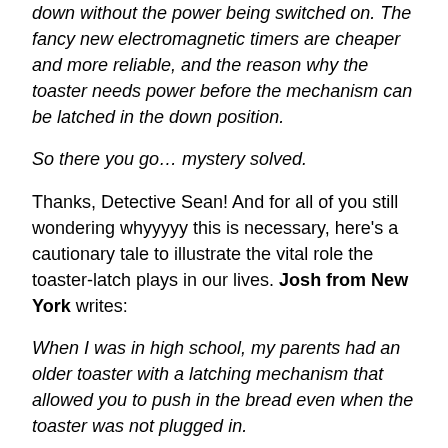down without the power being switched on. The fancy new electromagnetic timers are cheaper and more reliable, and the reason why the toaster needs power before the mechanism can be latched in the down position.
So there you go… mystery solved.
Thanks, Detective Sean! And for all of you still wondering whyyyyy this is necessary, here's a cautionary tale to illustrate the vital role the toaster-latch plays in our lives. Josh from New York writes:
When I was in high school, my parents had an older toaster with a latching mechanism that allowed you to push in the bread even when the toaster was not plugged in.
One fateful Fourth of July, I was in the mood for some